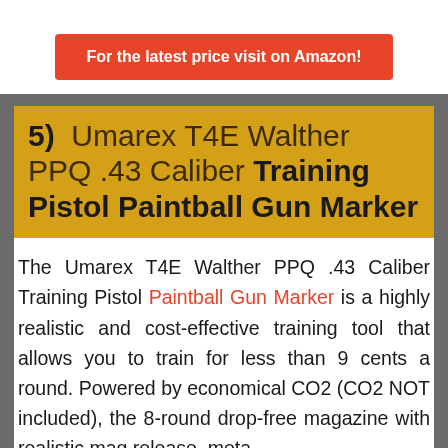For the latest price visit on Amazon!
5)  Umarex T4E Walther PPQ .43 Caliber Training Pistol Paintball Gun Marker
The Umarex T4E Walther PPQ .43 Caliber Training Pistol Paintball Gun Marker is a highly realistic and cost-effective training tool that allows you to train for less than 9 cents a round. Powered by economical CO2 (CO2 NOT included), the 8-round drop-free magazine with realistic mag release, meta